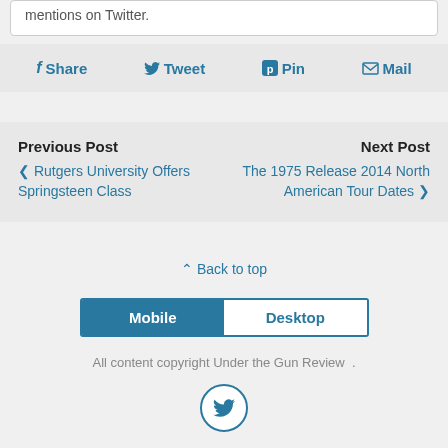mentions on Twitter.
f Share   🐦 Tweet   🅟 Pin   ✉ Mail
Previous Post
‹ Rutgers University Offers Springsteen Class
Next Post
The 1975 Release 2014 North American Tour Dates ›
⌃ Back to top
Mobile   Desktop
All content copyright Under the Gun Review .
[Figure (logo): Twitter bird icon in a circle]